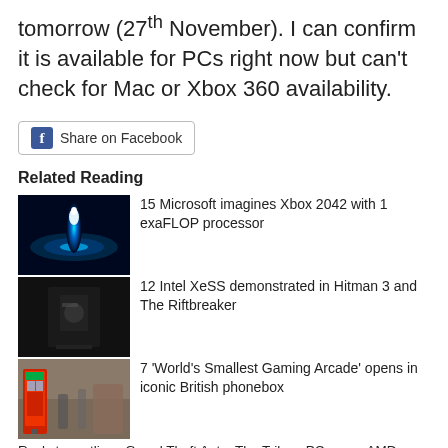tomorrow (27th November). I can confirm it is available for PCs right now but can't check for Mac or Xbox 360 availability.
[Figure (other): Share on Facebook button with Facebook icon]
Related Reading
[Figure (photo): Xbox 2042 concept image with glowing blue light on futuristic console]
15 Microsoft imagines Xbox 2042 with 1 exaFLOP processor
[Figure (photo): Hitman 3 character in black suit holding weapon]
12 Intel XeSS demonstrated in Hitman 3 and The Riftbreaker
[Figure (photo): British red phone box on a street with people nearby]
7 'World's Smallest Gaming Arcade' opens in iconic British phonebox
Rockstar outlines Grand Theft Auto: The Trilogy PC specs AMD Radeon RX 6900 XT Halo Infinite graphics card revealed Borderlands 3 will arrive on the PC Steam store on 13th March Borderlands 3 and Ghost Recon